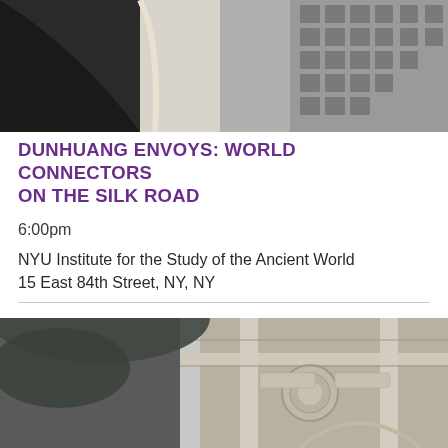[Figure (photo): Black and white photograph looking up at a classical stone arch architectural detail with geometric coffers on the underside]
DUNHUANG ENVOYS: WORLD CONNECTORS ON THE SILK ROAD
6:00pm
NYU Institute for the Study of the Ancient World
15 East 84th Street, NY, NY
[Figure (photo): Black and white photograph looking up at a neoclassical building facade with ornate decorative details, foliage in the upper left corner]